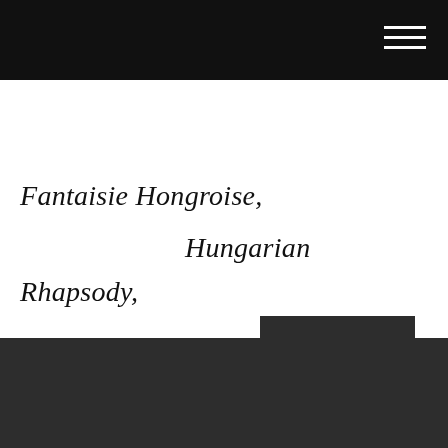Fantaisie Hongroise, Hungarian Rhapsody,